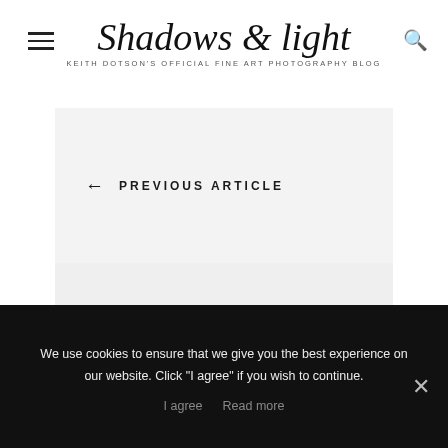Shadows & light — KEITH DOTSON'S OFFICIAL FINE ART PHOTOGRAPHY BLOG
← PREVIOUS ARTICLE
NEXT ARTICLE →
1 COMMENT
Jeni
We use cookies to ensure that we give you the best experience on our website. Click "I agree" if you wish to continue.
I agree   Read more